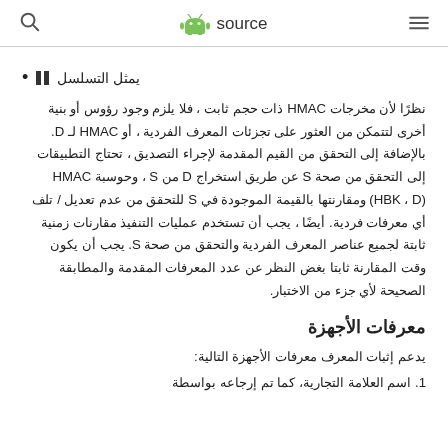source (Android logo)
|| يمثل التسلسل
نظرًا لأن مخرجات HMAC ذات حجم ثابت ، فلا يلزم وجود رؤوس أو بنية أخرى لتتمكن من العثور على تجزئات المعرف الفردية ، أو HMAC لـ D. بالإضافة إلى التحقق من القيم المقدمة لإجراء التصديق ، تحتاج التطبيقات إلى التحقق من صحة S عن طريق استخراج D من S ، وحوسبة HMAC (HBK ، D) ومقارنتها بالقيمة الموجودة في S للتحقق من عدم تعديل / تلف أي معرفات فردية. أيضًا ، يجب أن تستخدم عمليات التنفيذ مقارنات زمنية ثابتة لجميع عناصر المعرف الفردية والتحقق من صحة S. يجب أن يكون وقت المقارنة ثابتا بغض النظر عن عدد المعرفات المقدمة والمطابقة الصحيحة لأي جزء من الاختبار.
معرفات الأجهزة
يدعم إثبات المعرف معرفات الأجهزة التالية:
1. اسم العلامة التجارية، كما تم إرجاعه بواسطة